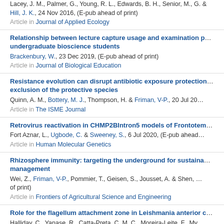Lacey, J. M., Palmer, G., Young, R. L., Edwards, B. H., Senior, M., G. & Hill, J. K., 24 Nov 2016, (E-pub ahead of print) Article in Journal of Applied Ecology
Relationship between lecture capture usage and examination performance in undergraduate bioscience students
Brackenbury, W., 23 Dec 2019, (E-pub ahead of print)
Article in Journal of Biological Education
Resistance evolution can disrupt antibiotic exposure protection through exclusion of the protective species
Quinn, A. M., Bottery, M. J., Thompson, H. & Friman, V-P., 20 Jul 20...
Article in The ISME Journal
Retrovirus reactivation in CHMP2BIntron5 models of Frontotemporal...
Fort Aznar, L., Ugbode, C. & Sweeney, S., 6 Jul 2020, (E-pub ahead...
Article in Human Molecular Genetics
Rhizosphere immunity: targeting the underground for sustainable disease management
Wei, Z., Friman, V-P., Pommier, T., Geisen, S., Jousset, A. & Shen, ... of print)
Article in Frontiers of Agricultural Science and Engineering
Role for the flagellum attachment zone in Leishmania anterior c...
Halliday, C., Yanase, R., Catta-Preta, C. M. C., Moreira-Leite, F., My...
Mottram, J. C. & Sunter, J. D., 22 Oct 2020, (E-pub ahead of print)
Article in PLOS PATHOGENS